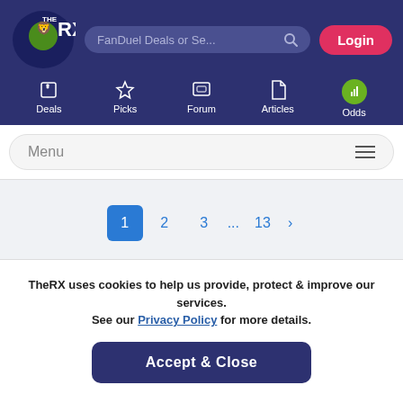[Figure (screenshot): TheRX website navigation header with logo, search bar, login button, and nav icons for Deals, Picks, Forum, Articles, Odds]
[Figure (screenshot): Menu bar with hamburger icon]
[Figure (screenshot): Pagination showing pages 1 (active/highlighted), 2, 3, ..., 13, with a right arrow]
TheRX uses cookies to help us provide, protect & improve our services. See our Privacy Policy for more details.
Accept & Close